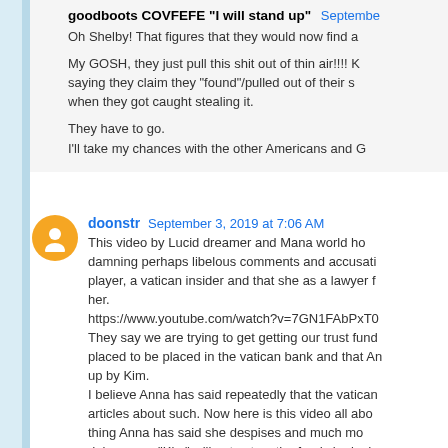goodboots COVFEFE "I will stand up" September...
Oh Shelby! That figures that they would now find a...
My GOSH, they just pull this shit out of thin air!!!! K... saying they claim they "found"/pulled out of their s... when they got caught stealing it.

They have to go.
I'll take my chances with the other Americans and G...
doonstr September 3, 2019 at 7:06 AM
This video by Lucid dreamer and Mana world ho... damning perhaps libelous comments and accusati... player, a vatican insider and that she as a lawyer f... her.
https://www.youtube.com/watch?v=7GN1FAbPxT0
They say we are trying to get getting our trust fund... placed to be placed in the vatican bank and that An... up by Kim.
I believe Anna has said repeatedly that the vatican ... articles about such. Now here is this video all abo... thing Anna has said she despises and much mo... doing so as "Kim" will not set up the fund she is de... They associate her with the corrupt "Hapsburg's" a...